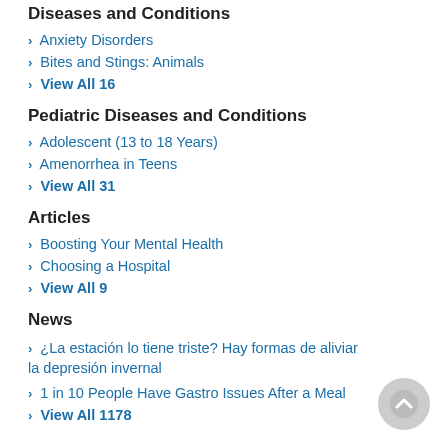Diseases and Conditions
Anxiety Disorders
Bites and Stings: Animals
View All 16
Pediatric Diseases and Conditions
Adolescent (13 to 18 Years)
Amenorrhea in Teens
View All 31
Articles
Boosting Your Mental Health
Choosing a Hospital
View All 9
News
¿La estación lo tiene triste? Hay formas de aliviar la depresión invernal
1 in 10 People Have Gastro Issues After a Meal
View All 1178